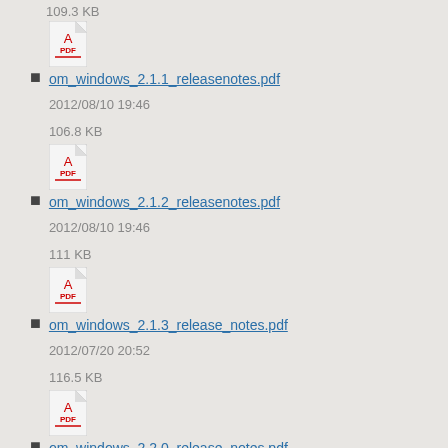109.3 KB
om_windows_2.1.1_releasenotes.pdf
2012/08/10 19:46
106.8 KB
om_windows_2.1.2_releasenotes.pdf
2012/08/10 19:46
111 KB
om_windows_2.1.3_release_notes.pdf
2012/07/20 20:52
116.5 KB
om_windows_2.2.0_release_notes.pdf